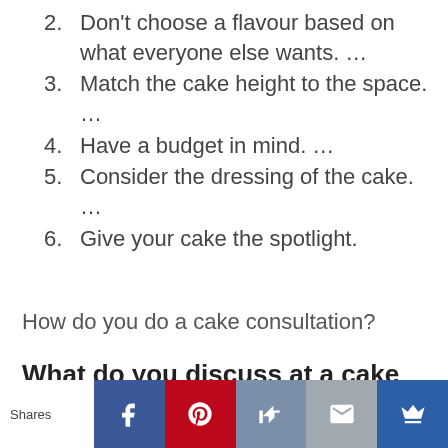2. Don’t choose a flavour based on what everyone else wants. …
3. Match the cake height to the space. …
4. Have a budget in mind. …
5. Consider the dressing of the cake. …
6. Give your cake the spotlight.
How do you do a cake consultation?
What do you discuss at a cake consultation?
Shares [Facebook] [Pinterest] [Like] [Mail] [Crown]